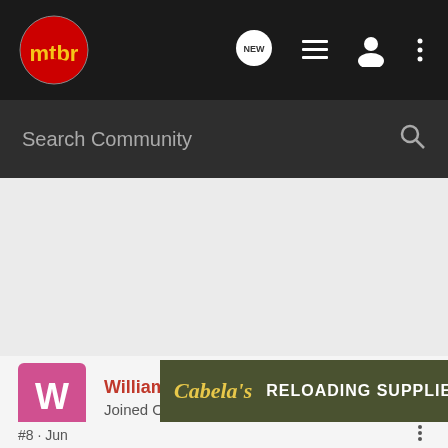[Figure (screenshot): mtbr community forum website navigation bar with logo, new message bubble, list icon, user icon, and three-dot menu icon on dark background]
Search Community
William42 · Registered
Joined Oct 29, 2006 · 4,445 Posts
[Figure (advertisement): Cabela's Reloading Supplies advertisement banner with shop now button on olive green background]
#8 · Jun